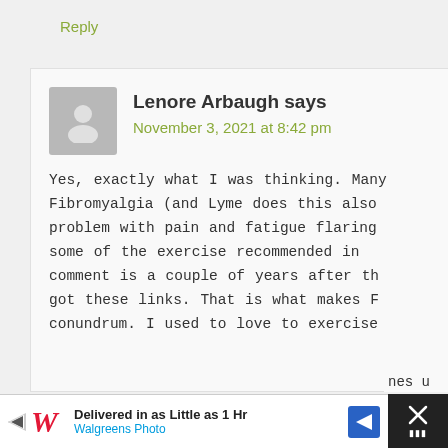Reply
[Figure (illustration): Gray avatar placeholder icon for user Lenore Arbaugh]
Lenore Arbaugh says
November 3, 2021 at 8:42 pm
Yes, exactly what I was thinking. Many Fibromyalgia (and Lyme does this also problem with pain and fatigue flaring some of the exercise recommended in comment is a couple of years after th got these links. That is what makes F conundrum. I used to love to exercise ...becomes u
[Figure (advertisement): Walgreens Photo advertisement: Delivered in as Little as 1 Hr, Walgreens Photo, with navigation arrow icon]